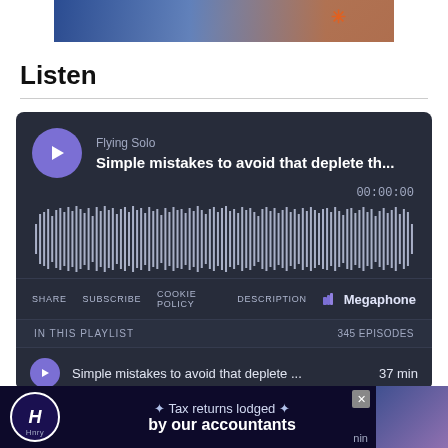[Figure (photo): Partial photo of person working on a laptop, blue background with asterisk mark]
Listen
[Figure (screenshot): Podcast player widget with dark background. Shows Flying Solo podcast, episode 'Simple mistakes to avoid that deplete th...' with waveform, time 00:00:00, SHARE, SUBSCRIBE, COOKIE POLICY, DESCRIPTION links, Megaphone branding, playlist showing 345 EPISODES, and episode row 'Simple mistakes to avoid that deplete ... 37 min'. Below is an ad for Henry accountants: 'Tax returns lodged by our accountants'.]